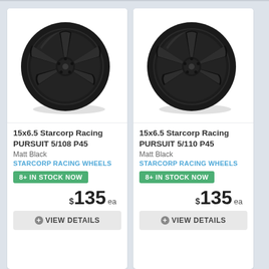[Figure (photo): Black alloy wheel - 15x6.5 Starcorp Racing PURSUIT 5/108 P45, Matt Black, 5-spoke design]
15x6.5 Starcorp Racing PURSUIT 5/108 P45
Matt Black
STARCORP RACING WHEELS
8+ IN STOCK NOW
$135 ea
VIEW DETAILS
[Figure (photo): Black alloy wheel - 15x6.5 Starcorp Racing PURSUIT 5/110 P45, Matt Black, 5-spoke design]
15x6.5 Starcorp Racing PURSUIT 5/110 P45
Matt Black
STARCORP RACING WHEELS
8+ IN STOCK NOW
$135 ea
VIEW DETAILS